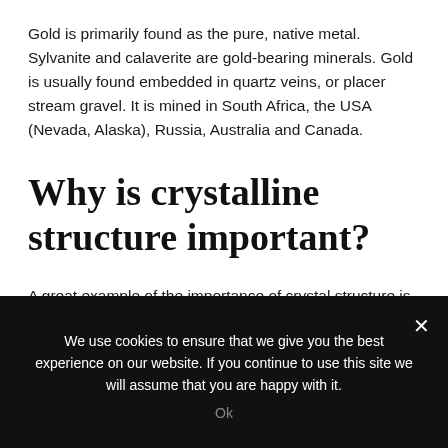Gold is primarily found as the pure, native metal. Sylvanite and calaverite are gold-bearing minerals. Gold is usually found embedded in quartz veins, or placer stream gravel. It is mined in South Africa, the USA (Nevada, Alaska), Russia, Australia and Canada.
Why is crystalline structure important?
A great example of the importance of crystal structure is
We use cookies to ensure that we give you the best experience on our website. If you continue to use this site we will assume that you are happy with it.
Ok